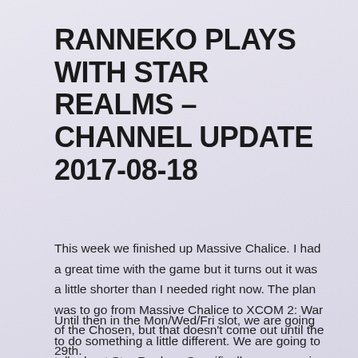RANNEKO PLAYS WITH STAR REALMS – CHANNEL UPDATE 2017-08-18
This week we finished up Massive Chalice. I had a great time with the game but it turns out it was a little shorter than I needed right now. The plan was to go from Massive Chalice to XCOM 2: War of the Chosen, but that doesn't come out until the 29th.
Until then in the Mon/Wed/Fri slot, we are going to do something a little different. We are going to talk about Star Realms. Specifically, we are going to look at replays of Star Realms games and try to